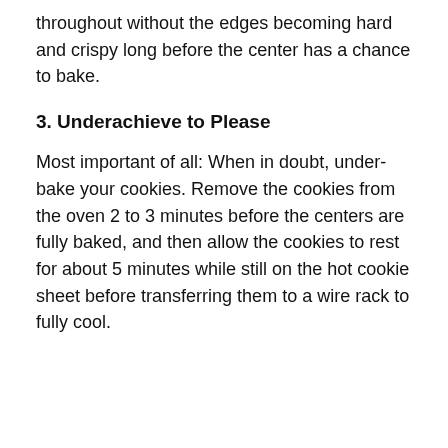throughout without the edges becoming hard and crispy long before the center has a chance to bake.
3. Underachieve to Please
Most important of all: When in doubt, under-bake your cookies. Remove the cookies from the oven 2 to 3 minutes before the centers are fully baked, and then allow the cookies to rest for about 5 minutes while still on the hot cookie sheet before transferring them to a wire rack to fully cool.